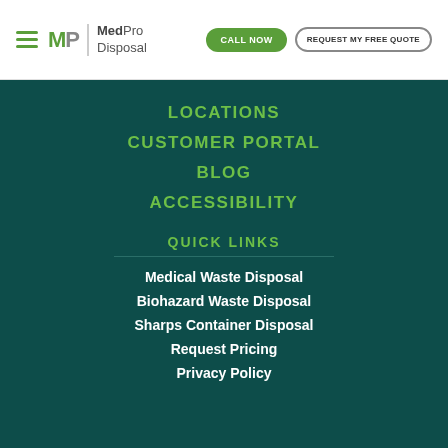MedPro Disposal — CALL NOW | REQUEST MY FREE QUOTE
LOCATIONS
CUSTOMER PORTAL
BLOG
ACCESSIBILITY
QUICK LINKS
Medical Waste Disposal
Biohazard Waste Disposal
Sharps Container Disposal
Request Pricing
Privacy Policy